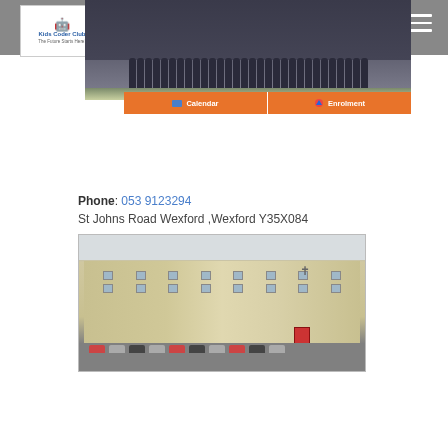[Figure (photo): Kids Coder Club logo - white box with robot icon and text 'Kids Coder Club - The Future Starts Here']
[Figure (photo): Group photo of school students in uniform, rows of children in dark uniforms standing on a playground]
[Figure (screenshot): Navigation buttons: Calendar and Enrolment on orange background]
Phone: 053 9123294
St Johns Road Wexford ,Wexford Y35X084
[Figure (photo): Exterior photograph of a large school building - long multi-storey building with multiple windows, cars parked in front, red door on right side with cross above entrance, taken on an overcast day]